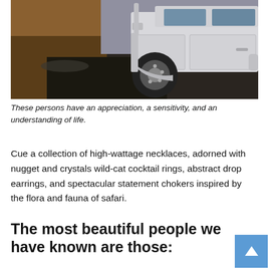[Figure (photo): A white Land Rover Defender 4x4 vehicle parked on a rocky, muddy off-road terrain with a rugged landscape in the background featuring orange-brown grass and dark gravel.]
These persons have an appreciation, a sensitivity, and an understanding of life.
Cue a collection of high-wattage necklaces, adorned with nugget and crystals wild-cat cocktail rings, abstract drop earrings, and spectacular statement chokers inspired by the flora and fauna of safari.
The most beautiful people we have known are those: